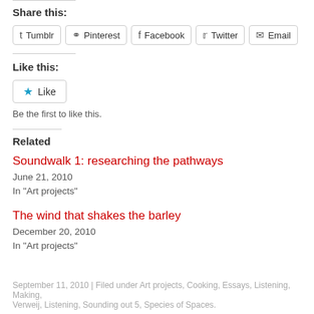Share this:
Tumblr
Pinterest
Facebook
Twitter
Email
Like this:
Like
Be the first to like this.
Related
Soundwalk 1: researching the pathways
June 21, 2010
In "Art projects"
The wind that shakes the barley
December 20, 2010
In "Art projects"
September 11, 2010 | Filed under Art projects, Cooking, Essays, Listening, Making, Verweij, Listening, Sounding out 5, Species of Spaces.